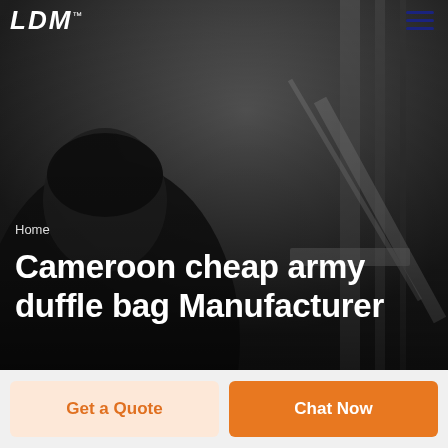LDM™
[Figure (photo): Black and white photo of a man in a suit, likely in a gym or industrial setting with vertical bars/poles in the background. Dark, moody atmosphere.]
Home
Cameroon cheap army duffle bag Manufacturer
Get a Quote
Chat Now